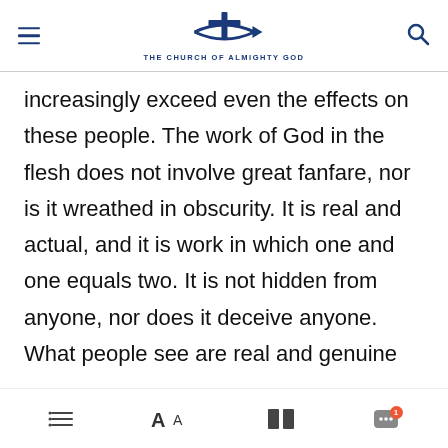THE CHURCH OF ALMIGHTY GOD
increasingly exceed even the effects on these people. The work of God in the flesh does not involve great fanfare, nor is it wreathed in obscurity. It is real and actual, and it is work in which one and one equals two. It is not hidden from anyone, nor does it deceive anyone. What people see are real and genuine things, and what man gains is real truth and knowledge. When the work ends, man shall have a new knowledge of Him, and those who truly pursue shall no longer have any notions about Him. This is not just the effect of His work on